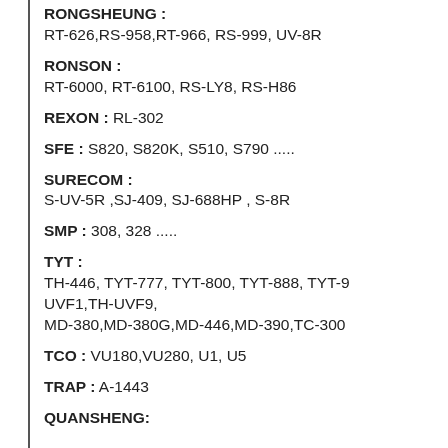RONGSHEUNG : RT-626,RS-958,RT-966, RS-999, UV-8R
RONSON : RT-6000, RT-6100, RS-LY8, RS-H86
REXON : RL-302
SFE : S820, S820K, S510, S790 .....
SURECOM : S-UV-5R ,SJ-409, SJ-688HP , S-8R
SMP : 308, 328 .....
TYT : TH-446, TYT-777, TYT-800, TYT-888, TYT-9 UVF1,TH-UVF9, MD-380,MD-380G,MD-446,MD-390,TC-300
TCO : VU180,VU280, U1, U5
TRAP : A-1443
QUANSHENG: